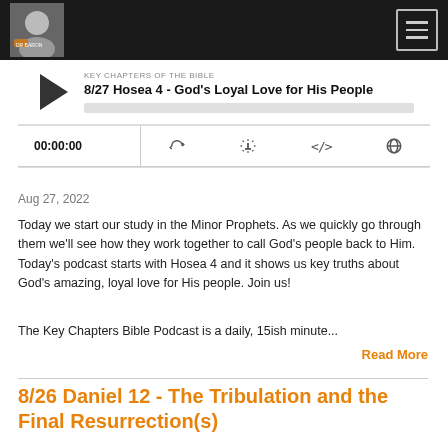Dr. Baron - Key Chapters of the Bible Podcast
[Figure (screenshot): Podcast player UI showing episode '8/27 Hosea 4 - God's Loyal Love for His People' with play button, progress bar, time 00:00:00, and media controls]
Aug 27, 2022
Today we start our study in the Minor Prophets. As we quickly go through them we’ll see how they work together to call God’s people back to Him. Today’s podcast starts with Hosea 4 and it shows us key truths about God’s amazing, loyal love for His people. Join us!
The Key Chapters Bible Podcast is a daily, 15ish minute...
Read More
8/26 Daniel 12 - The Tribulation and the Final Resurrection(s)